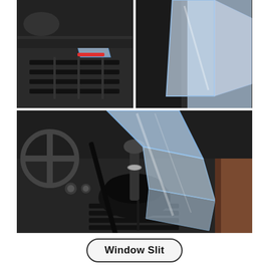[Figure (photo): Product usage photos showing a clear plastic wedge/slit tool being inserted into car vents and gear shift area. Top-left: tool inserted into car dashboard air vent with red accent element visible. Top-right: clear plastic wedge tool against car window/door frame area. Bottom: larger photo showing the transparent wedge tool being used near car gear shift/center console area.]
Window Slit